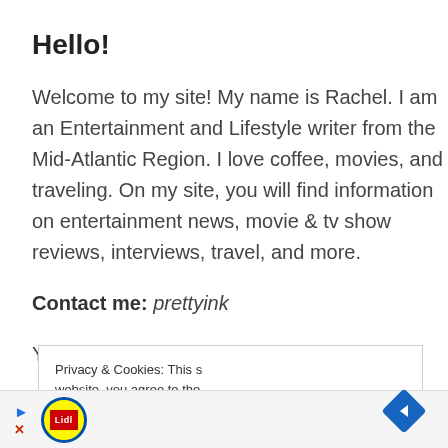Hello!
Welcome to my site! My name is Rachel. I am an Entertainment and Lifestyle writer from the Mid-Atlantic Region. I love coffee, movies, and traveling. On my site, you will find information on entertainment news, movie & tv show reviews, interviews, travel, and more.
Contact me: prettyink
You can learn more a
Privacy & Cookies: This s website, you agree to the To find out more, includi & Disclosures
[Figure (screenshot): Advertisement bar at the bottom with Lidl logo (yellow circle with blue border) and a blue navigation arrow diamond on the right, with forward/close arrow icons on the left]